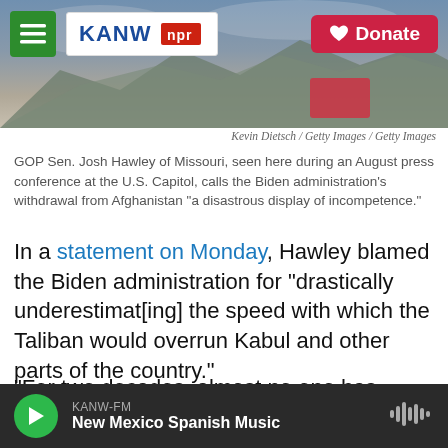KANW NPR | Donate
[Figure (photo): Background mountain landscape photo behind the header navigation bar]
Kevin Dietsch / Getty Images / Getty Images
GOP Sen. Josh Hawley of Missouri, seen here during an August press conference at the U.S. Capitol, calls the Biden administration's withdrawal from Afghanistan "a disastrous display of incompetence."
In a statement on Monday, Hawley blamed the Biden administration for "drastically underestimat[ing] the speed with which the Taliban would overrun Kabul and other parts of the country."
"For two decades, almost no one has leveled with the American people about the true state of affairs
KANW-FM
New Mexico Spanish Music